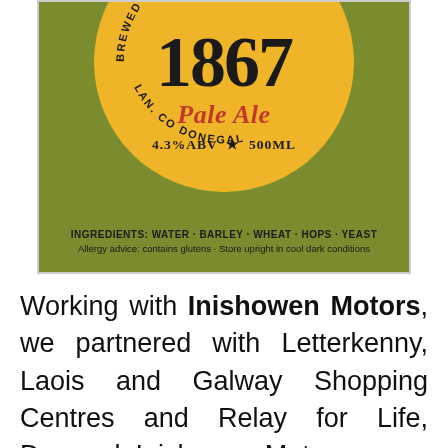[Figure (illustration): Beer label for '1867 Pale Ale' on a green background with a gold/yellow circular badge showing '1867' in large black numerals, 'Pale Ale' in red italic script, '4.3%ABV * 500ML' in bold, and circular text reading 'BREWED FOR MIC...' and '...LAN. CO DONEGAL'. Below the badge: INGREDIENTS: WATER · BARLEY · WHEAT · HOPS · YEAST and allergy/storage advice.]
Working with Inishowen Motors, we partnered with Letterkenny, Laois and Galway Shopping Centres and Relay for Life, Donegal. Inishowen Motors